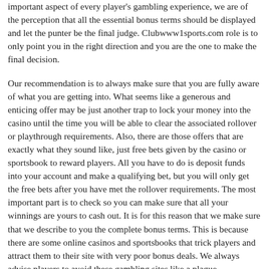important aspect of every player's gambling experience, we are of the perception that all the essential bonus terms should be displayed and let the punter be the final judge. Clubwww1sports.com role is to only point you in the right direction and you are the one to make the final decision.
Our recommendation is to always make sure that you are fully aware of what you are getting into. What seems like a generous and enticing offer may be just another trap to lock your money into the casino until the time you will be able to clear the associated rollover or playthrough requirements. Also, there are those offers that are exactly what they sound like, just free bets given by the casino or sportsbook to reward players. All you have to do is deposit funds into your account and make a qualifying bet, but you will only get the free bets after you have met the rollover requirements. The most important part is to check so you can make sure that all your winnings are yours to cash out. It is for this reason that we make sure that we describe to you the complete bonus terms. This is because there are some online casinos and sportsbooks that trick players and attract them to their site with very poor bonus deals. We always advise players to avoid these gambling sites like a plague.